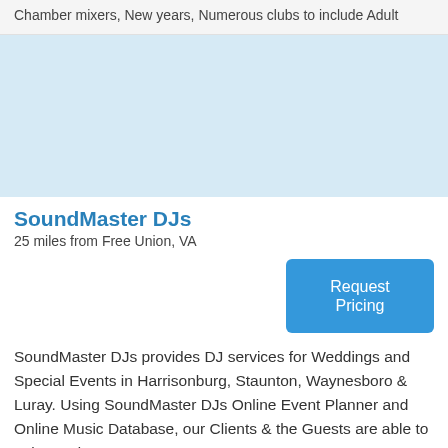Chamber mixers, New years, Numerous clubs to include Adult
[Figure (other): Light blue placeholder image area]
SoundMaster DJs
25 miles from Free Union, VA
Request Pricing
SoundMaster DJs provides DJ services for Weddings and Special Events in Harrisonburg, Staunton, Waynesboro & Luray. Using SoundMaster DJs Online Event Planner and Online Music Database, our Clients & the Guests are able to enjoy and